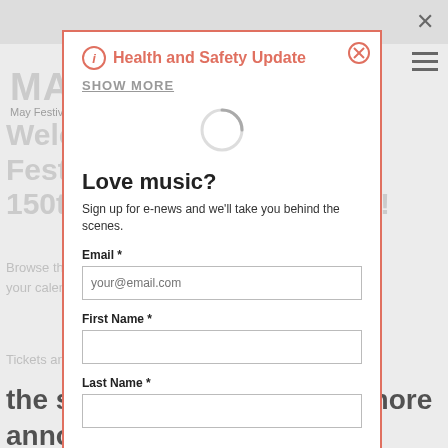[Figure (screenshot): Website background showing May Festival homepage with navigation bar, logo, breadcrumb, and page title 'Welcome to the May Festival's 150th Anniversary Season!' partially visible behind a modal overlay]
Health and Safety Update
SHOW MORE
Love music?
Sign up for e-news and we'll take you behind the scenes.
Email *
First Name *
Last Name *
the season. Stay tuned for more announcements!